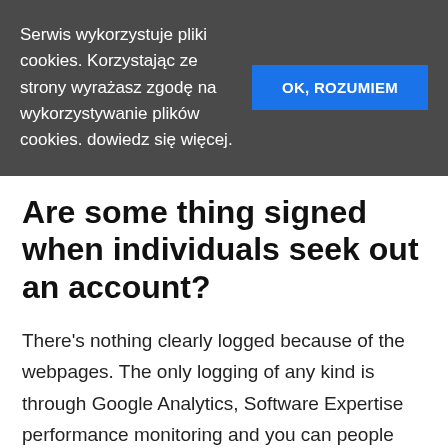Serwis wykorzystuje pliki cookies. Korzystając ze strony wyrażasz zgodę na wykorzystywanie plików cookies. dowiedz się więcej.
OK, ROZUMIEM
Are some thing signed when individuals seek out an account?
There's nothing clearly logged because of the webpages. The only logging of any kind is through Google Analytics, Software Expertise performance monitoring and you can people diagnostic study implicitly compiled when the a different occurs in the machine.